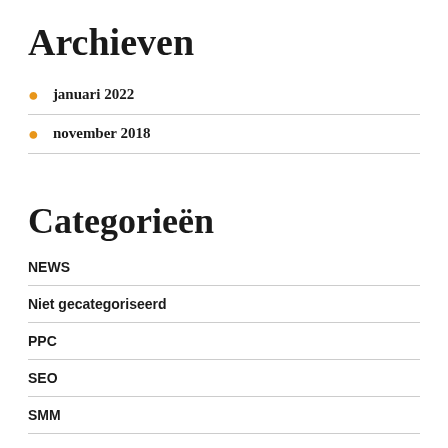Archieven
januari 2022
november 2018
Categorieën
NEWS
Niet gecategoriseerd
PPC
SEO
SMM